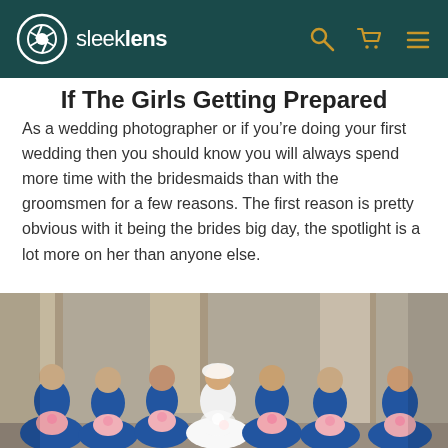sleeklens
If The Girls Getting Prepared
As a wedding photographer or if you’re doing your first wedding then you should know you will always spend more time with the bridesmaids than with the groomsmen for a few reasons. The first reason is pretty obvious with it being the brides big day, the spotlight is a lot more on her than anyone else.
[Figure (photo): Group of bridesmaids in blue dresses holding pink and white flower bouquets, gathered around a bride in a white dress and veil, smiling together in front of stone columns.]